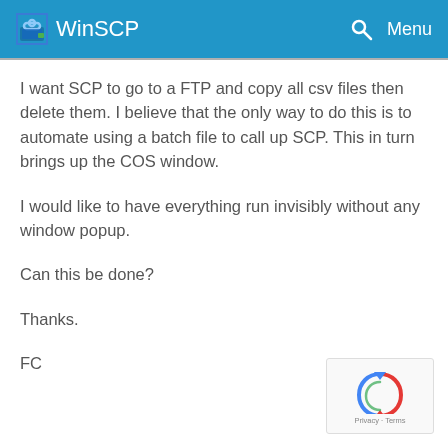WinSCP
I want SCP to go to a FTP and copy all csv files then delete them. I believe that the only way to do this is to automate using a batch file to call up SCP. This in turn brings up the COS window.
I would like to have everything run invisibly without any window popup.
Can this be done?
Thanks.
FC
[Figure (other): reCAPTCHA widget with Privacy and Terms links]